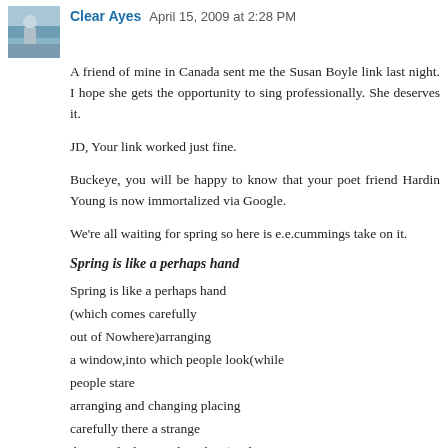Clear Ayes  April 15, 2009 at 2:28 PM
A friend of mine in Canada sent me the Susan Boyle link last night. I hope she gets the opportunity to sing professionally. She deserves it.
JD, Your link worked just fine.
Buckeye, you will be happy to know that your poet friend Hardin Young is now immortalized via Google.
We're all waiting for spring so here is e.e.cummings take on it.
Spring is like a perhaps hand
Spring is like a perhaps hand
(which comes carefully
out of Nowhere)arranging
a window,into which people look(while
people stare
arranging and changing placing
carefully there a strange
thing and a known thing here)and